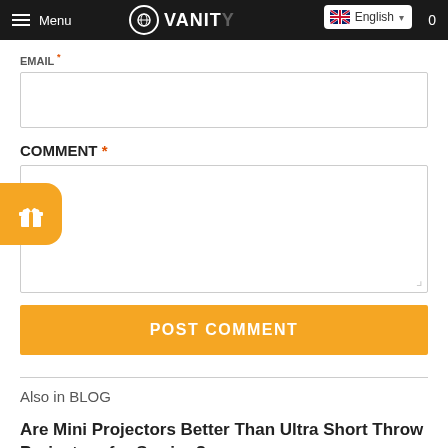Menu | VANITY | English | 0
EMAIL *
COMMENT *
POST COMMENT
Also in BLOG
Are Mini Projectors Better Than Ultra Short Throw Projectors for Sewing?
August 17, 2022 · 0 Comments